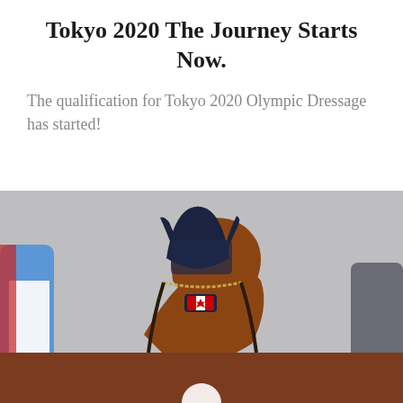Tokyo 2020 The Journey Starts Now.
The qualification for Tokyo 2020 Olympic Dressage has started!
[Figure (photo): Close-up photo of a horse wearing a dark navy blue ear bonnet with horn-shaped ear covers and a Canadian flag emblem on the noseband. A rider in white breeches and blue/red jacket is visible in the background.]